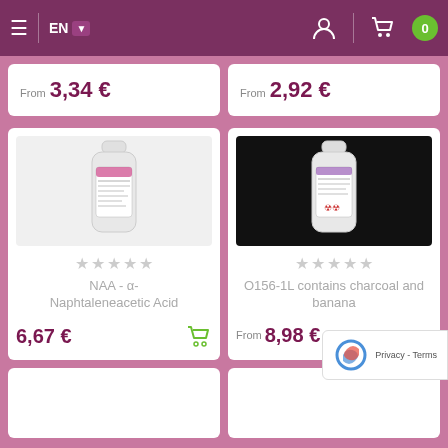EN navigation bar with hamburger menu, language selector, user icon, cart icon, and badge showing 0
From 3,34 €
From 2,92 €
[Figure (photo): White plastic bottle with label, on light background]
[Figure (photo): White plastic bottle with label, on dark background]
NAA - α-Naphtaleneacetic Acid
6,67 €
O156-1L contains charcoal and banana
From 8,98 €